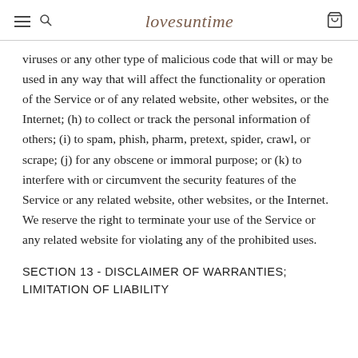lovesuntime
viruses or any other type of malicious code that will or may be used in any way that will affect the functionality or operation of the Service or of any related website, other websites, or the Internet; (h) to collect or track the personal information of others; (i) to spam, phish, pharm, pretext, spider, crawl, or scrape; (j) for any obscene or immoral purpose; or (k) to interfere with or circumvent the security features of the Service or any related website, other websites, or the Internet. We reserve the right to terminate your use of the Service or any related website for violating any of the prohibited uses.
SECTION 13 - DISCLAIMER OF WARRANTIES; LIMITATION OF LIABILITY